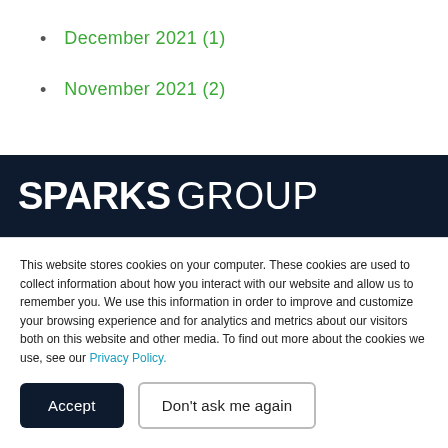December 2021 (1)
November 2021 (2)
[Figure (logo): Sparks Group logo — white text on dark navy background. 'SPARKS' in bold and 'GROUP' in light weight, all caps.]
This website stores cookies on your computer. These cookies are used to collect information about how you interact with our website and allow us to remember you. We use this information in order to improve and customize your browsing experience and for analytics and metrics about our visitors both on this website and other media. To find out more about the cookies we use, see our Privacy Policy.